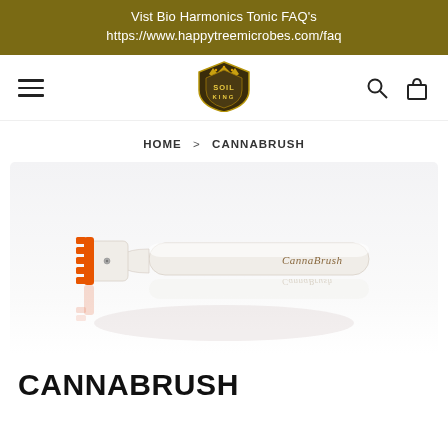Vist Bio Harmonics Tonic FAQ's
https://www.happytreemicrobes.com/faq
[Figure (logo): Soil King brand logo with crown icon]
HOME > CANNABRUSH
[Figure (photo): CannaBrush product photo - a white handled rolling brush with orange bristle head, showing reflection below on white surface]
CANNABRUSH